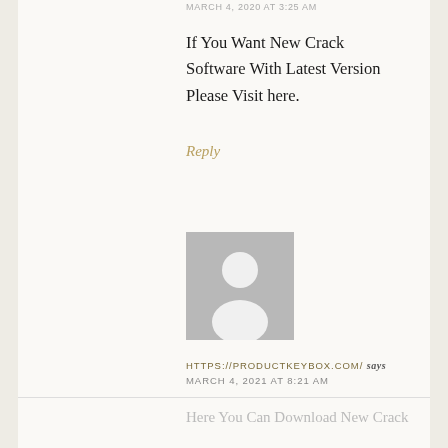MARCH 4, 2020 AT 3:25 AM
If You Want New Crack Software With Latest Version Please Visit here.
Reply
[Figure (photo): Default user avatar placeholder - grey silhouette of a person on grey background]
HTTPS://PRODUCTKEYBOX.COM/ says
MARCH 4, 2021 AT 8:21 AM
Here You Can Download New Crack